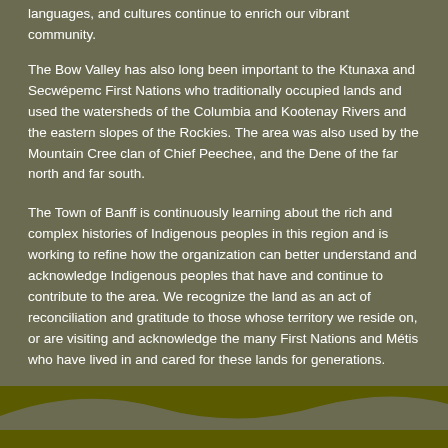languages, and cultures continue to enrich our vibrant community.
The Bow Valley has also long been important to the Ktunaxa and Secwépemc First Nations who traditionally occupied lands and used the watersheds of the Columbia and Kootenay Rivers and the eastern slopes of the Rockies. The area was also used by the Mountain Cree clan of Chief Peechee, and the Dene of the far north and far south.
The Town of Banff is continuously learning about the rich and complex histories of Indigenous peoples in this region and is working to refine how the organization can better understand and acknowledge Indigenous peoples that have and continue to contribute to the area. We recognize the land as an act of reconciliation and gratitude to those whose territory we reside on, or are visiting and acknowledge the many First Nations and Métis who have lived in and cared for these lands for generations.